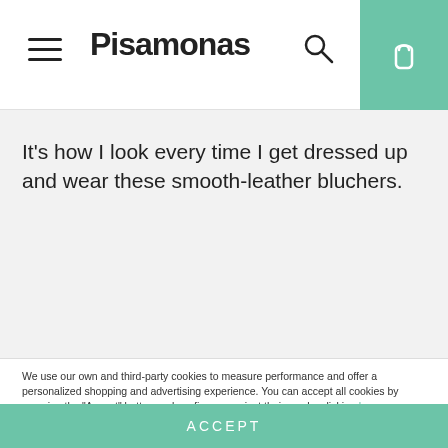Pisamonas
It's how I look every time I get dressed up and wear these smooth-leather bluchers.
We use our own and third-party cookies to measure performance and offer a personalized shopping and advertising experience. You can accept all cookies by pressing the "Accept" button and configure or reject their use by clicking here.